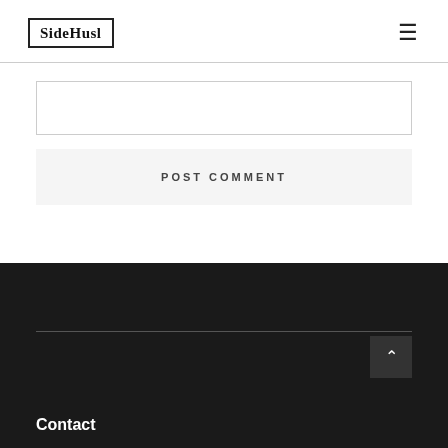SideHusl
[Figure (screenshot): Text input field (empty comment box)]
POST COMMENT
Contact